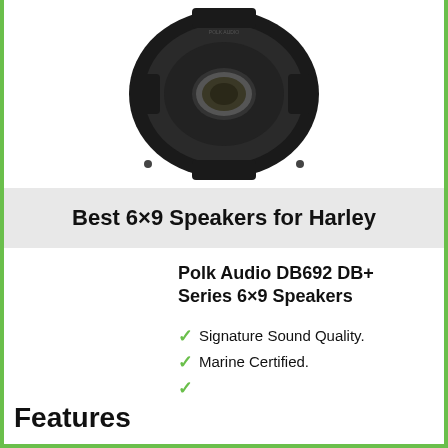[Figure (photo): Black 6x9 car speaker (Polk Audio DB692 DB+ Series) viewed from front, showing circular speaker cone, center dome tweeter with mesh grille, and mounting bracket arms against white background]
Best 6×9 Speakers for Harley
Polk Audio DB692 DB+ Series 6×9 Speakers
Signature Sound Quality.
Marine Certified.
Features